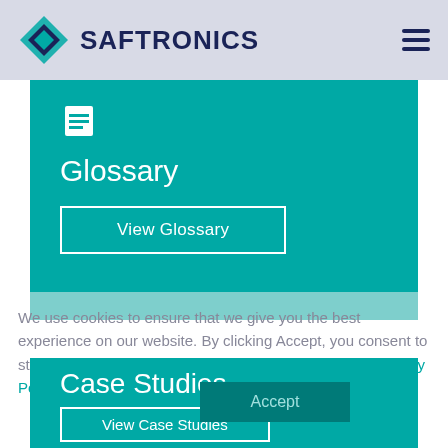SAFTRONICS
[Figure (logo): Saftronics logo with diamond-shaped icon in blue and teal colors and bold dark blue SAFTRONICS text]
Glossary
View Glossary
We use cookies to ensure that we give you the best experience on our website. By clicking Accept, you consent to store on your device all technologies described in our Privacy Policy.
Case Studies
View Case Studies
Accept